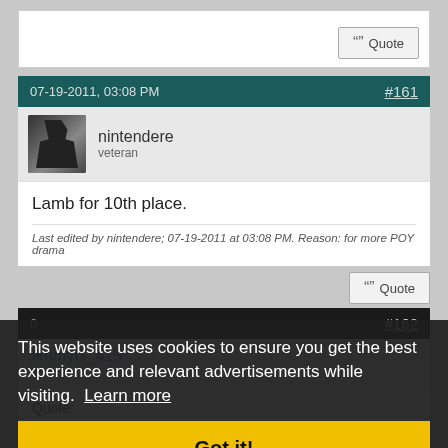Quote
07-19-2011, 03:08 PM   #161
nintendere
veteran
Lamb for 10th place.
Last edited by nintendere; 07-19-2011 at 03:08 PM. Reason: for more POY drama
Quote
#162
JimmyG_415
newbie
Quote:
Originally Posted by Shrugs
This website uses cookies to ensure you get the best experience and relevant advertisements while visiting.  Learn more
Got it!